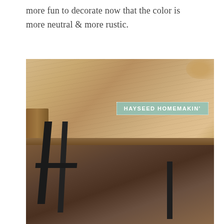more fun to decorate now that the color is more neutral & more rustic.
[Figure (photo): Close-up photo of a rustic wooden table top with dark metal legs, photographed from a diagonal perspective. A watermark reads 'HAYSEED HOMEMAKIN'' in white text on a mint/teal dotted border badge. A blurred object is visible in the top right corner.]